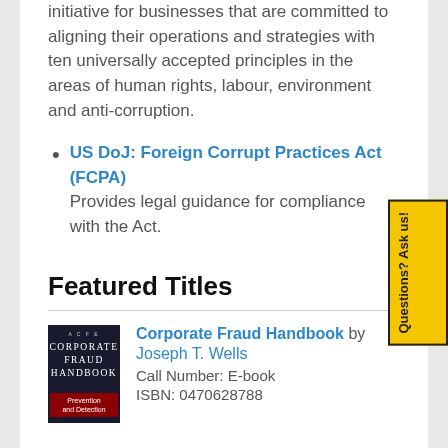initiative for businesses that are committed to aligning their operations and strategies with ten universally accepted principles in the areas of human rights, labour, environment and anti-corruption.
US DoJ: Foreign Corrupt Practices Act (FCPA) Provides legal guidance for compliance with the Act.
Featured Titles
[Figure (photo): Book cover of Corporate Fraud Handbook: Prevention and Detection, dark navy background with red bottom section]
Corporate Fraud Handbook by Joseph T. Wells
Call Number: E-book
ISBN: 0470628788